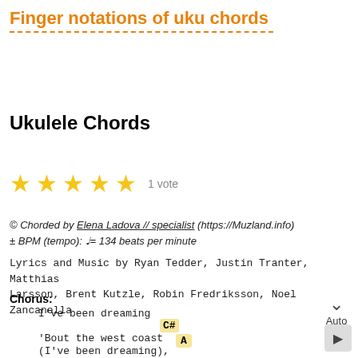Finger notations of uku chords
Ukulele Chords
[Figure (other): Five gold stars rating with '1 vote' text]
© Chorded by Elena Ladova // specialist (https://Muzland.info)
± BPM (tempo): ♩= 134 beats per minute
Lyrics and Music by Ryan Tedder, Justin Tranter, Matthias Larsson, Brent Kutzle, Robin Fredriksson, Noel Zancanella
Chorus:
I've been dreaming
C#
'Bout the west coast
(I've been dreaming),